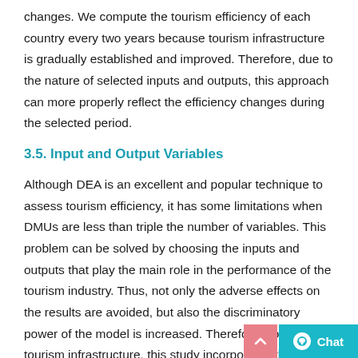changes. We compute the tourism efficiency of each country every two years because tourism infrastructure is gradually established and improved. Therefore, due to the nature of selected inputs and outputs, this approach can more properly reflect the efficiency changes during the selected period.
3.5. Input and Output Variables
Although DEA is an excellent and popular technique to assess tourism efficiency, it has some limitations when DMUs are less than triple the number of variables. This problem can be solved by choosing the inputs and outputs that play the main role in the performance of the tourism industry. Thus, not only the adverse effects on the results are avoided, but also the discriminatory power of the model is increased. Therefore, considering tourism infrastructure, this study incorporates the inputs and o... significantly affect the tourism industry and better represent the